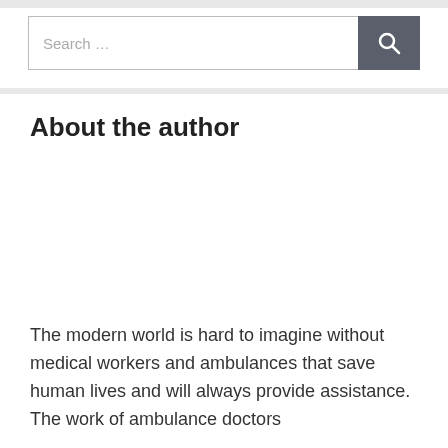[Figure (screenshot): Search bar with text field showing 'Search …' placeholder and a dark grey button with a magnifying glass icon]
About the author
The modern world is hard to imagine without medical workers and ambulances that save human lives and will always provide assistance. The work of ambulance doctors